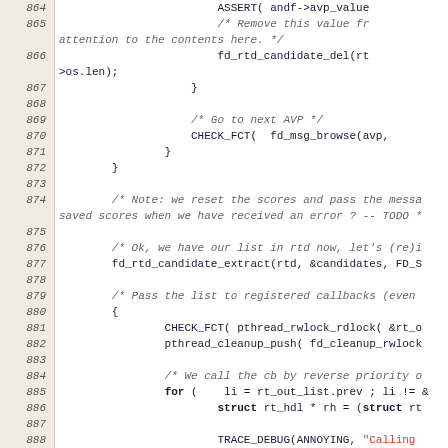[Figure (screenshot): Source code viewer showing C code lines 864-892, with line numbers in a beige/tan left column and code on white background. Contains function calls, comments, and control structures including fd_rtd_candidate_del, CHECK_FCT, fd_msg_browse, fd_rtd_candidate_extract, pthread_rwlock_rdlock, pthread_cleanup_push, TRACE_DEBUG, CHECK_FCT_DO, fd_msg_log, fd_msg_free.]